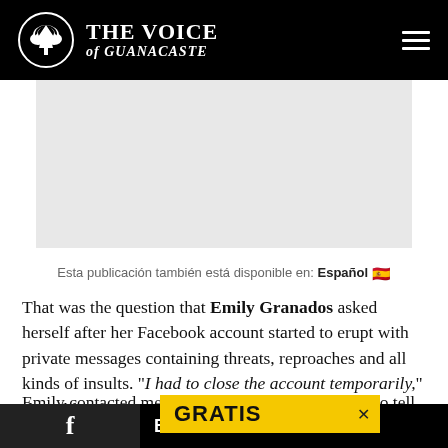THE VOICE of GUANACASTE
[Figure (other): Gray advertisement placeholder rectangle]
Esta publicación también está disponible en: Español 🇪🇸
That was the question that Emily Granados asked herself after her Facebook account started to erupt with private messages containing threats, reproaches and all kinds of insults. "I had to close the account temporarily," she told me.
Emily contacted me days ago because she wanted to tell her side of the ried that people
GRATIS × Boletín Semanal